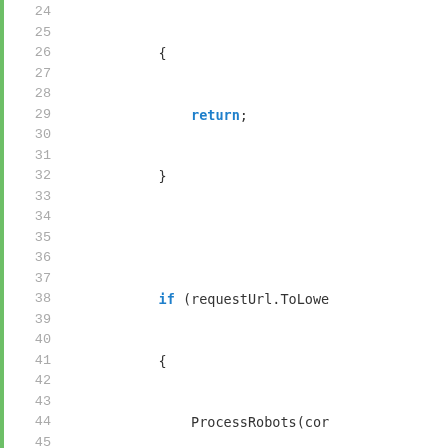[Figure (screenshot): Code editor screenshot showing C# source code lines 24-47 with line numbers on left, a green vertical bar gutter, and syntax highlighting (blue/bold for keywords, green for comments, dark for identifiers). Code includes return statement, if/else if blocks calling ProcessRobots and ProcessSitemap, a private static void method declaration, a comment about default robots, string declaration, and an if statement with global::Sitecore.]